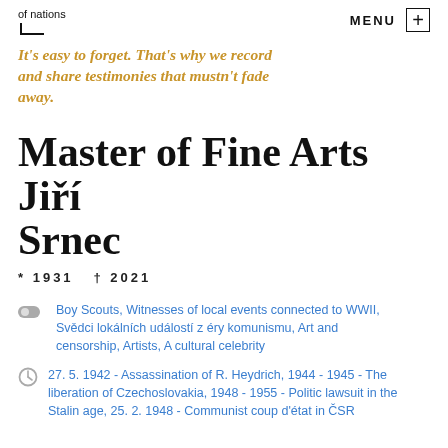of nations  MENU +
It's easy to forget. That's why we record and share testimonies that mustn't fade away.
Master of Fine Arts Jiří Srnec
* 1931  † 2021
Boy Scouts, Witnesses of local events connected to WWII, Svědci lokálních událostí z éry komunismu, Art and censorship, Artists, A cultural celebrity
27. 5. 1942 - Assassination of R. Heydrich, 1944 - 1945 - The liberation of Czechoslovakia, 1948 - 1955 - Politic lawsuit in the Stalin age, 25. 2. 1948 - Communist coup d'état in ČSR